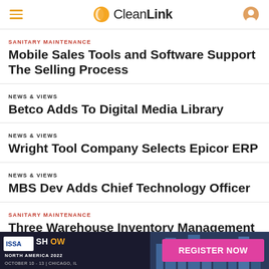CleanLink
SANITARY MAINTENANCE
Mobile Sales Tools and Software Support The Selling Process
NEWS & VIEWS
Betco Adds To Digital Media Library
NEWS & VIEWS
Wright Tool Company Selects Epicor ERP
NEWS & VIEWS
MBS Dev Adds Chief Technology Officer
SANITARY MAINTENANCE
Three Warehouse Inventory Management Tools
[Figure (infographic): ISSA SHOW NORTH AMERICA 2022 advertisement banner — REGISTER NOW, October 10-13, Chicago, IL]